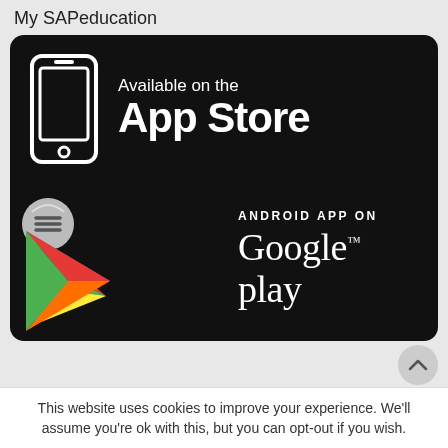My SAPeducation
[Figure (screenshot): App Store badge — black rounded rectangle with white smartphone icon on left and text 'Available on the App Store' on the right]
[Figure (screenshot): Google Play badge — black rounded rectangle with colorful Google Play triangle logo on left and text 'ANDROID APP ON Google play' on the right]
This website uses cookies to improve your experience. We'll assume you're ok with this, but you can opt-out if you wish.
Cookie settings
ACCEPT